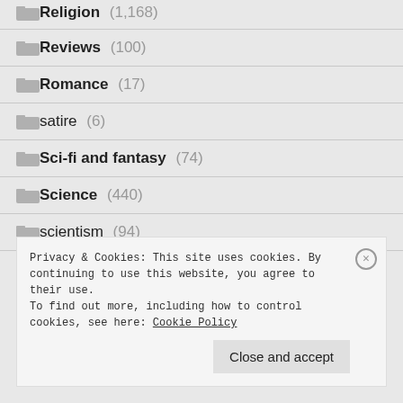Religion (1,168)
Reviews (100)
Romance (17)
satire (6)
Sci-fi and fantasy (74)
Science (440)
scientism (94)
Privacy & Cookies: This site uses cookies. By continuing to use this website, you agree to their use. To find out more, including how to control cookies, see here: Cookie Policy
Close and accept